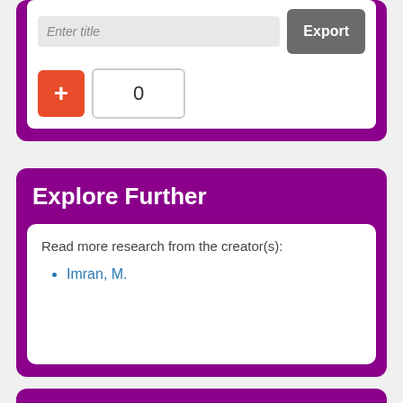[Figure (screenshot): Partial UI card with a text input field, Export button, plus button (orange), and a counter showing 0]
Explore Further
Read more research from the creator(s):
Imran, M.
[Figure (screenshot): Bottom edge of another purple card, partially visible]